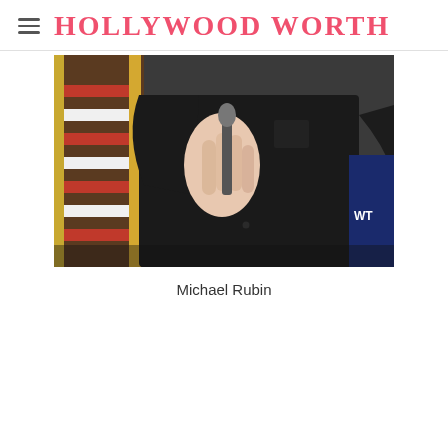HOLLYWOOD WORTH
[Figure (photo): A person in a black long-sleeve button-up shirt holding a microphone, with an American flag visible in the background on the left side. The photo is cropped to show the torso and hands only.]
Michael Rubin